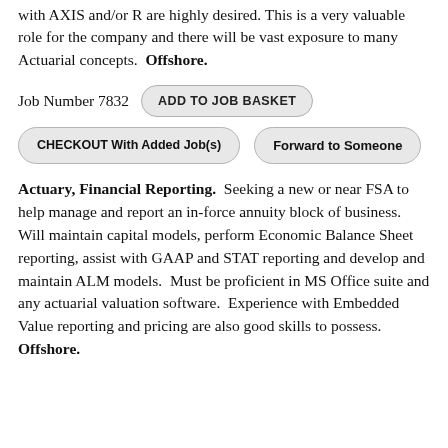with AXIS and/or R are highly desired.  This is a very valuable role for the company and there will be vast exposure to many Actuarial concepts.  Offshore.
Job Number 7832
ADD TO JOB BASKET
CHECKOUT With Added Job(s)
Forward to Someone
Actuary, Financial Reporting.  Seeking a new or near FSA to help manage and report an in-force annuity block of business.  Will maintain capital models, perform Economic Balance Sheet reporting, assist with GAAP and STAT reporting and develop and maintain ALM models.  Must be proficient in MS Office suite and any actuarial valuation software.  Experience with Embedded Value reporting and pricing are also good skills to possess.  Offshore.